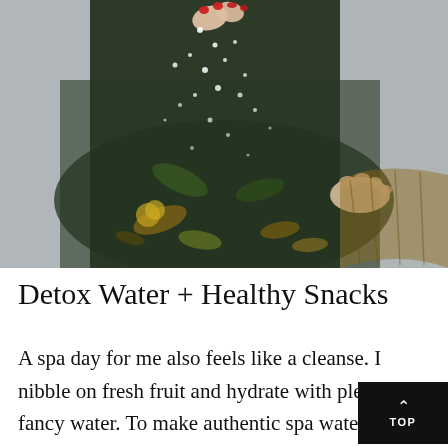[Figure (photo): Close-up photo of a person in a white robe sprinkling salt or flower petals into a dark foot bath basin with water, leaves and petals visible. Person has red nail polish. Shot from above.]
Detox Water + Healthy Snacks
A spa day for me also feels like a cleanse. I nibble on fresh fruit and hydrate with plenty of fancy water. To make authentic spa water just